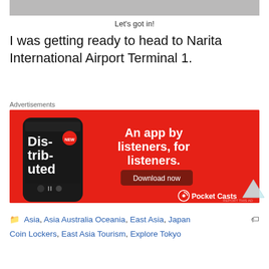[Figure (photo): Partial photo visible at the top of the page showing what appears to be an airport or travel scene]
Let's got in!
I was getting ready to head to Narita International Airport Terminal 1.
Advertisements
[Figure (photo): Pocket Casts advertisement on red background showing a smartphone with the app open displaying 'Dis-trib-uted' podcast. Text reads 'An app by listeners, for listeners.' with a 'Download now' button and Pocket Casts logo.]
Asia, Asia Australia Oceania, East Asia, Japan Coin Lockers, East Asia Tourism, Explore Tokyo